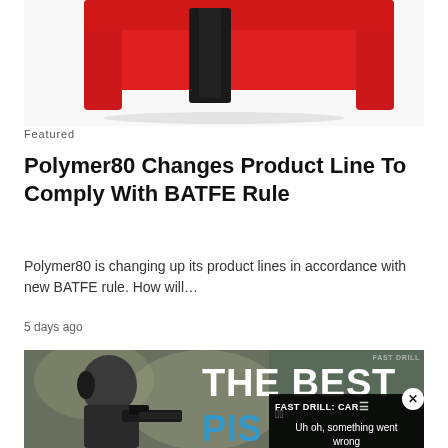[Figure (photo): Red polymer pistol frame/jig product on white background, partially cropped at top]
Featured
Polymer80 Changes Product Line To Comply With BATFE Rule
Polymer80 is changing up its product lines in accordance with new BATFE rule. How will…
5 days ago
[Figure (screenshot): Video thumbnail showing 'THE BEST PIST...' text overlay with a person holding a pistol, overlaid with a video player error overlay showing 'FAST DRILL: CAR...' title and 'Uh oh, something went wrong' message with play controls at 0:00. A close (x) button appears in the upper right.]